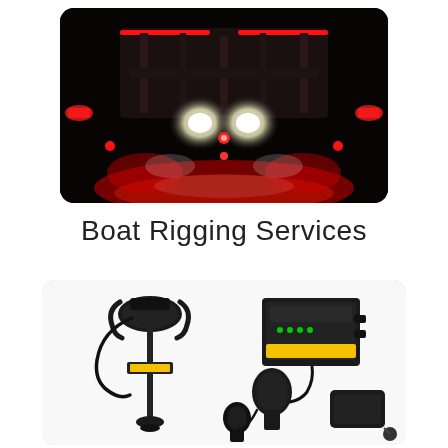[Figure (photo): Night photograph of a boat trailer or vehicle undercarriage lit up with bright white headlights and red LED accent lights, showing the rear of a dark vehicle with glowing red light strips along the top edges and multiple bright white and red lights illuminating the ground.]
Boat Rigging Services
[Figure (photo): Product photograph showing a trolling motor (Minn Kota style) with mounting bracket, a black MK1060 battery charger with yellow label, and two plug/connector accessories, all on a white background inside a rounded-corner card.]